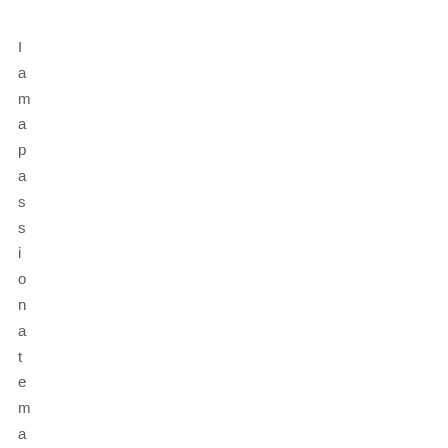I
a
m
a
p
a
s
s
i
o
n
a
t
e
m
a
n
w
h
o
l
o
v
e
s
w